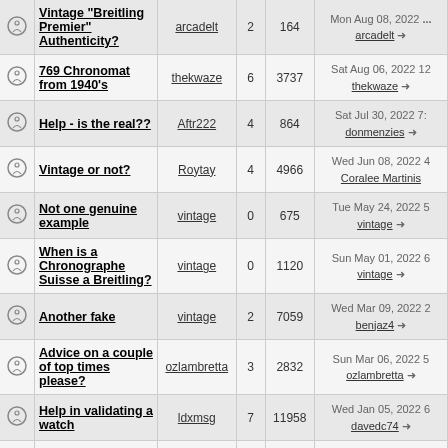|  | Topic | Author | Replies | Views | Last Post |
| --- | --- | --- | --- | --- | --- |
|  | Vintage "Breitling Premier" Authenticity? | arcadelt | 2 | 164 | Mon Aug 08, 2022 arcadelt → |
|  | 769 Chronomat from 1940's | thekwaze | 6 | 3737 | Sat Aug 06, 2022 12 thekwaze → |
|  | Help - is the real?? | Aftr222 | 4 | 864 | Sat Jul 30, 2022 7: donmenzies → |
|  | Vintage or not? | Roytay | 4 | 4966 | Wed Jun 08, 2022 4 Coralee Martinis |
|  | Not one genuine example | vintage | 0 | 675 | Tue May 24, 2022 5 vintage → |
|  | When is a Chronographe Suisse a Breitling? | vintage | 0 | 1120 | Sun May 01, 2022 6 vintage → |
|  | Another fake | vintage | 2 | 7059 | Wed Mar 09, 2022 2 benjaz4 → |
|  | Advice on a couple of top times please? | ozlambretta | 3 | 2832 | Sun Mar 06, 2022 5 ozlambretta → |
|  | Help in validating a watch | ldxmsg | 7 | 11958 | Wed Jan 05, 2022 6 davedc74 → |
|  |  |  |  |  | Fri Dec 17, 2021 |